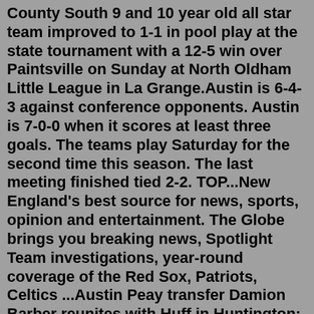County South 9 and 10 year old all star team improved to 1-1 in pool play at the state tournament with a 12-5 win over Paintsville on Sunday at North Oldham Little League in La Grange.Austin is 6-4-3 against conference opponents. Austin is 7-0-0 when it scores at least three goals. The teams play Saturday for the second time this season. The last meeting finished tied 2-2. TOP...New England's best source for news, sports, opinion and entertainment. The Globe brings you breaking news, Spotlight Team investigations, year-round coverage of the Red Sox, Patriots, Celtics ...Austin Peay transfer Damion Barber reunites with Huff in Huntington; ... Daily Weekly ... //herald-dispatch.com 5192 Braley Road Huntington, WV 25705Feb 22, 2022 · While the Broncos look back at a job well done, the Austin LBJ Jaguars move forward with more work to do after topping Lake Belton 68-47 in a Class 4A bi-district playoff at Round Rock Westwood. Jul 11, 2022 · FANDUEL SPORTSBOOK LINE: Austin FC -133, Houston +314, Draw +295; over/under is 2.5 goals.